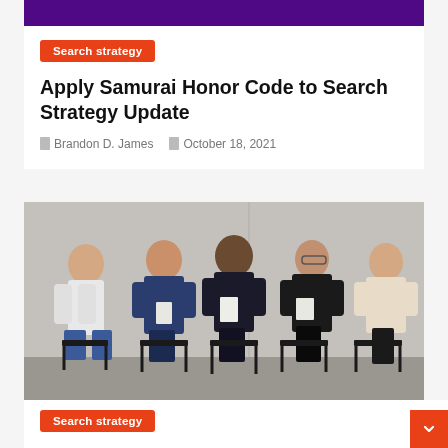[Figure (photo): Partial view of a person in a business setting, purple/dark background at top]
Search strategy
Apply Samurai Honor Code to Search Strategy Update
Brandon D. James   October 18, 2021
[Figure (photo): Five people sitting in chairs in a waiting room, appearing to be job candidates. They hold papers and interact with each other. Background is concrete grey wall.]
Search strategy